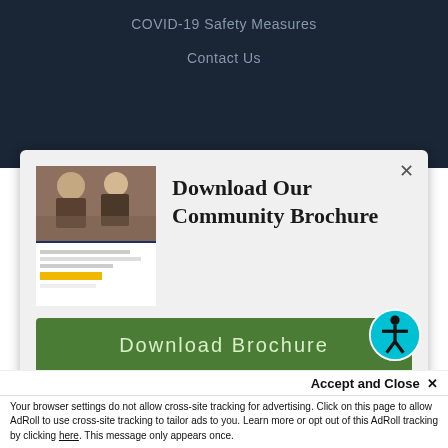COVID-19 Safety Measures
Contact Us
Download Our Community Brochure
[Figure (screenshot): Green Download Brochure button with accessibility icon]
Our website stores cookies on your computer. These cookies are used to collect information about how you interact with our website and allow us to provide a better experience. To find out more about the cookies we use, see our Privacy Policy.
Accept and Close ×
Your browser settings do not allow cross-site tracking for advertising. Click on this page to allow AdRoll to use cross-site tracking to tailor ads to you. Learn more or opt out of this AdRoll tracking by clicking here. This message only appears once.